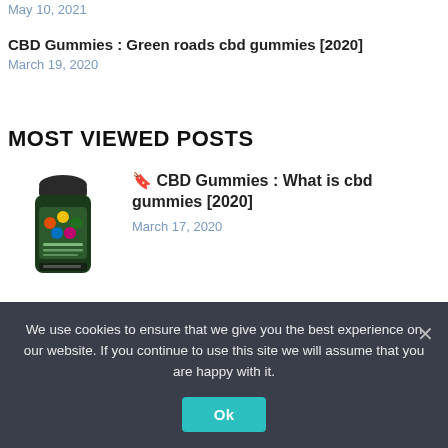May 10, 2021
CBD Gummies : Green roads cbd gummies [2020]
March 19, 2020
MOST VIEWED POSTS
[Figure (photo): Green CBD gummies supplement bottle with black cap]
🔖 CBD Gummies : What is cbd gummies [2020]
March 17, 2020
We use cookies to ensure that we give you the best experience on our website. If you continue to use this site we will assume that you are happy with it.